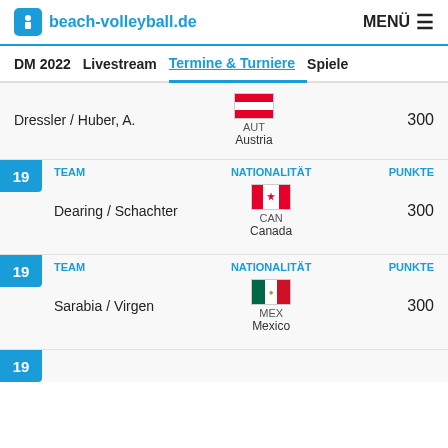beach-volleyball.de  MENÜ
DM 2022  Livestream  Termine & Turniere  Spieler
| TEAM | NATIONALITÄT | PUNKTE |
| --- | --- | --- |
| Dressler / Huber, A. | AUT Austria | 300 |
| TEAM | NATIONALITÄT | PUNKTE |
| --- | --- | --- |
| Dearing / Schachter | CAN Canada | 300 |
| TEAM | NATIONALITÄT | PUNKTE |
| --- | --- | --- |
| Sarabia / Virgen | MEX Mexico | 300 |